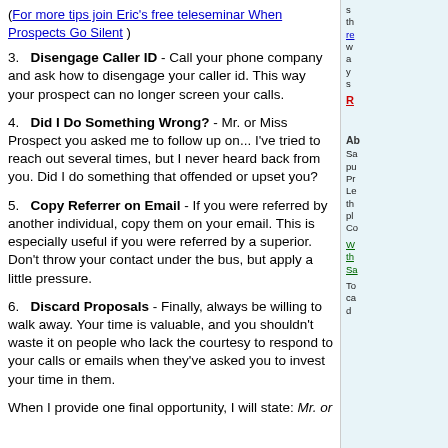(For more tips join Eric's free teleseminar When Prospects Go Silent )
3.   Disengage Caller ID - Call your phone company and ask how to disengage your caller id. This way your prospect can no longer screen your calls.
4.   Did I Do Something Wrong? - Mr. or Miss Prospect you asked me to follow up on... I've tried to reach out several times, but I never heard back from you. Did I do something that offended or upset you?
5.   Copy Referrer on Email - If you were referred by another individual, copy them on your email. This is especially useful if you were referred by a superior. Don't throw your contact under the bus, but apply a little pressure.
6.   Discard Proposals - Finally, always be willing to walk away. Your time is valuable, and you shouldn't waste it on people who lack the courtesy to respond to your calls or emails when they've asked you to invest your time in them.
When I provide one final opportunity, I will state: Mr. or
Side column with links and about section text